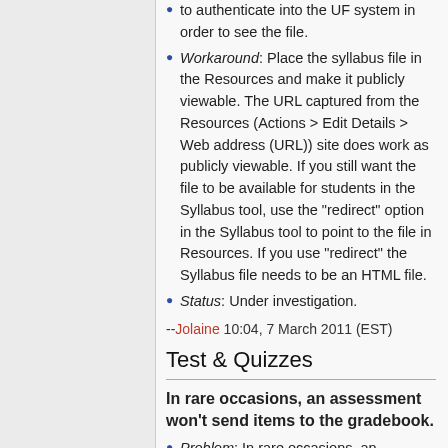to authenticate into the UF system in order to see the file.
Workaround: Place the syllabus file in the Resources and make it publicly viewable. The URL captured from the Resources (Actions > Edit Details > Web address (URL)) site does work as publicly viewable. If you still want the file to be available for students in the Syllabus tool, use the "redirect" option in the Syllabus tool to point to the file in Resources. If you use "redirect" the Syllabus file needs to be an HTML file.
Status: Under investigation.
--Jolaine 10:04, 7 March 2011 (EST)
Test & Quizzes
In rare occasions, an assessment won't send items to the gradebook.
Problem: In rare occasions, an